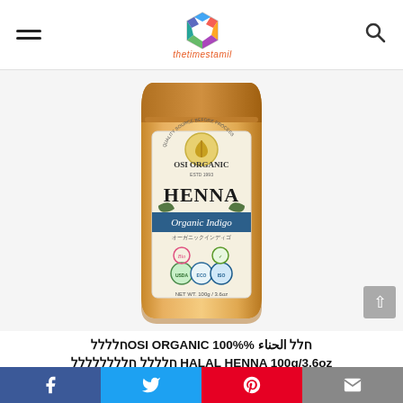thetimestamil - navigation header with hamburger menu, logo, and search icon
[Figure (photo): Product photo of OSI ORGANIC HENNA Organic Indigo powder bag, kraft paper stand-up pouch with cream label, blue banner reading 'Organic Indigo', multiple certification badges at bottom including Eco Cert, USDA Organic, and others.]
חלל الحناء OSI ORGANIC 100%%חלללל HALAL HENNA 100g/3.6oz חלללל חלללללללל ORGANIC INDIGO
Social share bar: Facebook, Twitter, Pinterest, Email